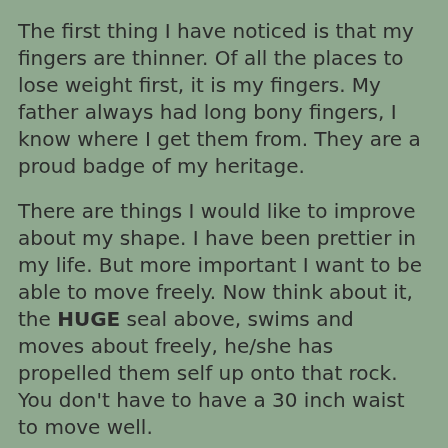The first thing I have noticed is that my fingers are thinner.  Of all the places to lose weight first, it is my fingers. My father always had long bony fingers, I know where I get them from.  They are a proud badge of my heritage.
There are things I would like to improve about my shape.  I have been prettier in my life.  But more important I want to be able to move freely.  Now think about it, the HUGE seal above, swims and moves about freely, he/she has propelled them self up onto that rock.  You don't have to have a 30 inch waist to move well.
On this count I am winning.  I can walk for loner periods of time without pain.  I can climb a couple of flights of stairs without being winded.  I still fatigue, by back tells me when I need to take a break and relax.  But I am stronger than I was last year, and last year